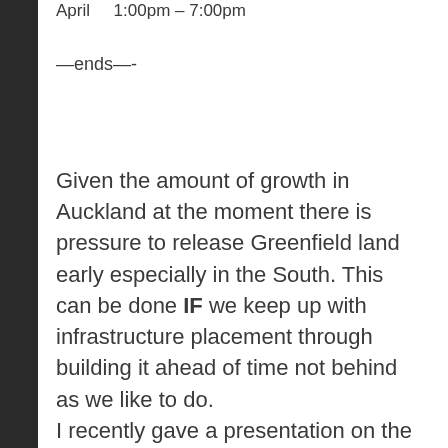April    1:00pm – 7:00pm
—ends—-
Given the amount of growth in Auckland at the moment there is pressure to release Greenfield land early especially in the South. This can be done IF we keep up with infrastructure placement through building it ahead of time not behind as we like to do.
I recently gave a presentation on the